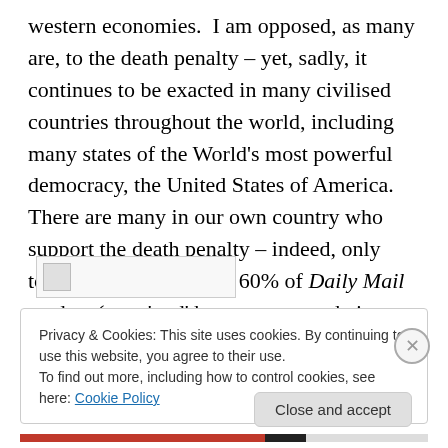western economies.  I am opposed, as many are, to the death penalty – yet, sadly, it continues to be exacted in many civilised countries throughout the world, including many states of the World's most powerful democracy, the United States of America.  There are many in our own country who support the death penalty – indeed, only today it is believed that 60% of Daily Mail readers (may 'god' have mercy on their souls – as the judges of old used to say after passing sentence of death) support the
[Figure (other): Broken image placeholder]
Privacy & Cookies: This site uses cookies. By continuing to use this website, you agree to their use.
To find out more, including how to control cookies, see here: Cookie Policy
Close and accept